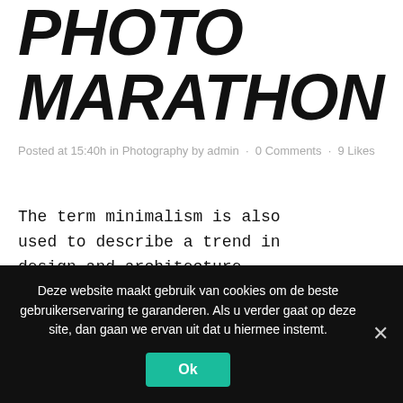PHOTO MARATHON
Posted at 15:40h in Photography by admin · 0 Comments · 9 Likes
The term minimalism is also used to describe a trend in design and architecture where in the subject is reduced to its necessary elements. Minimalist design
Deze website maakt gebruik van cookies om de beste gebruikerservaring te garanderen. Als u verder gaat op deze site, dan gaan we ervan uit dat u hiermee instemt.
Ok